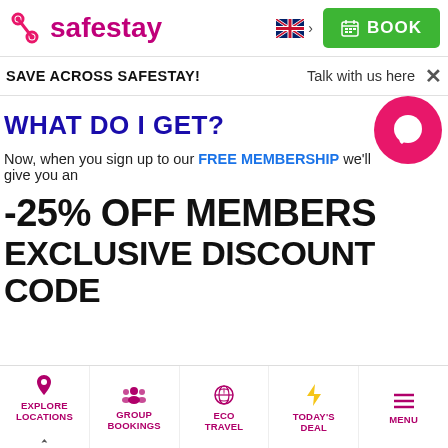[Figure (logo): Safestay logo with pink S-shaped icon and pink 'safestay' wordmark]
[Figure (illustration): UK flag icon with chevron for language selection]
[Figure (illustration): Green BOOK button with calendar icon]
SAVE ACROSS SAFESTAY!
Talk with us here
WHAT DO I GET?
Now, when you sign up to our FREE MEMBERSHIP we'll give you an
-25% OFF MEMBERS EXCLUSIVE DISCOUNT CODE
[Figure (illustration): Pink chat bubble icon (circular button)]
EXPLORE LOCATIONS | GROUP BOOKINGS | ECO TRAVEL | TODAY'S DEAL | MENU